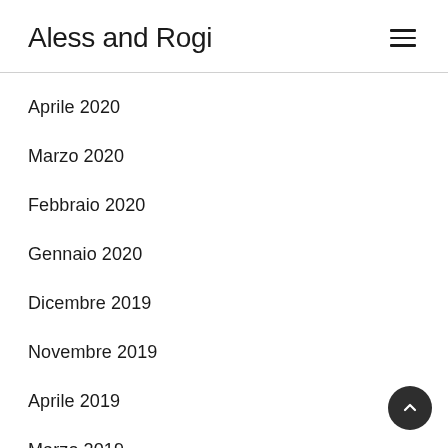Aless and Rogi
Aprile 2020
Marzo 2020
Febbraio 2020
Gennaio 2020
Dicembre 2019
Novembre 2019
Aprile 2019
Marzo 2019